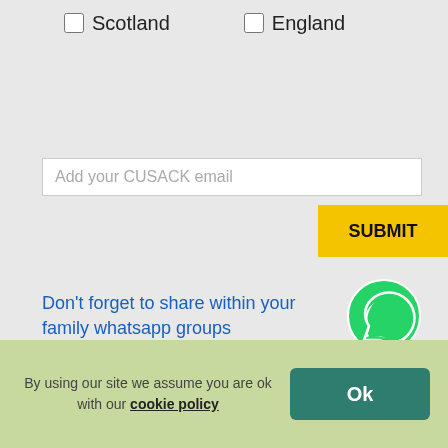☐ Scotland
☐ England
Add your CUSACK email
SUBMIT
Don't forget to share within your family whatsapp groups
[Figure (logo): WhatsApp green logo icon]
Our in-person family gatherings
By using our site we assume you are ok with our cookie policy
Ok